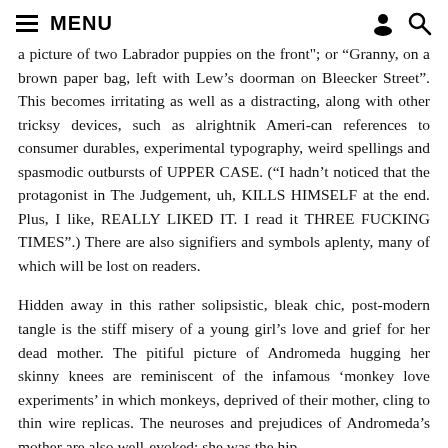≡ MENU
a picture of two Labrador puppies on the front"; or "Granny, on a brown paper bag, left with Lew's doorman on Bleecker Street". This becomes irritating as well as a distracting, along with other tricksy devices, such as alrightnik Ameri-can references to consumer durables, experimental typography, weird spellings and spasmodic outbursts of UPPER CASE. ("I hadn't noticed that the protagonist in The Judgement, uh, KILLS HIMSELF at the end. Plus, I like, REALLY LIKED IT. I read it THREE FUCKING TIMES".) There are also signifiers and symbols aplenty, many of which will be lost on readers.
Hidden away in this rather solipsistic, bleak chic, post-modern tangle is the stiff misery of a young girl's love and grief for her dead mother. The pitiful picture of Andromeda hugging her skinny knees are reminiscent of the infamous 'monkey love experiments' in which monkeys, deprived of their mother, cling to thin wire replicas. The neuroses and prejudices of Andromeda's mother are also well-evoked: she was the hip,